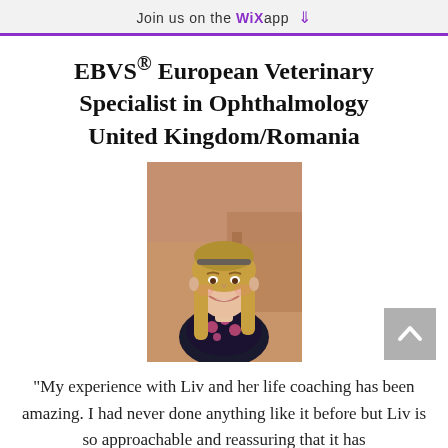Join us on the WiX app ↓
EBVS® European Veterinary Specialist in Ophthalmology United Kingdom/Romania
[Figure (photo): Portrait photo of a young woman with long blonde hair, smiling, wearing a floral top, outdoors in front of a brick building.]
"My experience with Liv and her life coaching has been amazing. I had never done anything like it before but Liv is so approachable and reassuring that it has